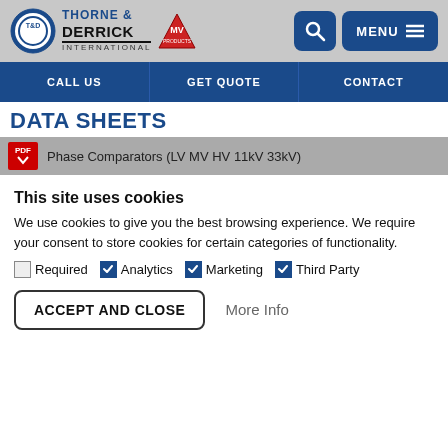[Figure (logo): Thorne & Derrick International logo with T&D circle emblem and MV triangle logo]
CALL US   GET QUOTE   CONTACT
DATA SHEETS
Phase Comparators (LV MV HV 11kV 33kV)
This site uses cookies
We use cookies to give you the best browsing experience. We require your consent to store cookies for certain categories of functionality.
Required   Analytics   Marketing   Third Party
ACCEPT AND CLOSE   More Info